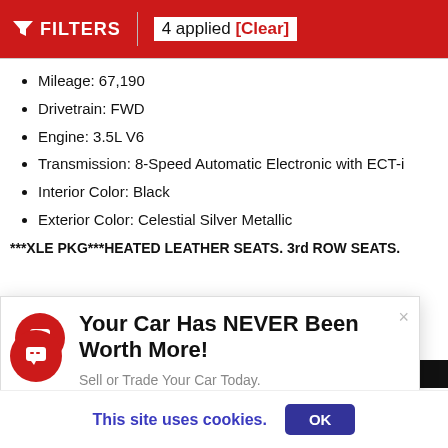FILTERS | 4 applied [Clear]
Mileage: 67,190
Drivetrain: FWD
Engine: 3.5L V6
Transmission: 8-Speed Automatic Electronic with ECT-i
Interior Color: Black
Exterior Color: Celestial Silver Metallic
***XLE PKG***HEATED LEATHER SEATS. 3rd ROW SEATS.
[Figure (screenshot): Popup advertisement: Your Car Has NEVER Been Worth More! Sell or Trade Your Car Today.]
[Figure (infographic): Certified Used Vehicles badge, CARFAX 1 OWNER logo, VINFO Vehicle Info Report logo]
Market Price $34,008
This site uses cookies. OK